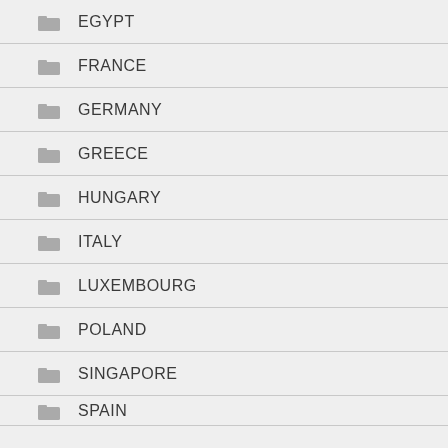EGYPT
FRANCE
GERMANY
GREECE
HUNGARY
ITALY
LUXEMBOURG
POLAND
SINGAPORE
SPAIN